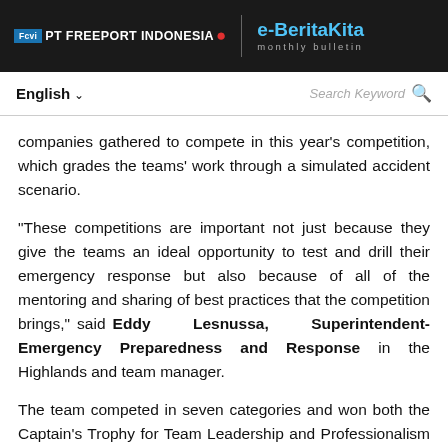PT Freeport Indonesia | e-BeritaKita monthly bulletin
English | Search Keyword
companies gathered to compete in this year's competition, which grades the teams' work through a simulated accident scenario.
“These competitions are important not just because they give the teams an ideal opportunity to test and drill their emergency response but also because of all of the mentoring and sharing of best practices that the competition brings,” said Eddy Lesnussa, Superintendent-Emergency Preparedness and Response in the Highlands and team manager.
The team competed in seven categories and won both the Captain’s Trophy for Team Leadership and Professionalism and the Road Accident Rescue category. They also took home second place awards for Firefighter Competency and